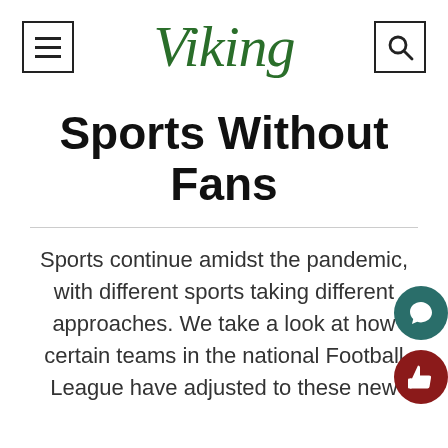Viking
Sports Without Fans
Sports continue amidst the pandemic, with different sports taking different approaches. We take a look at how certain teams in the national Football League have adjusted to these new